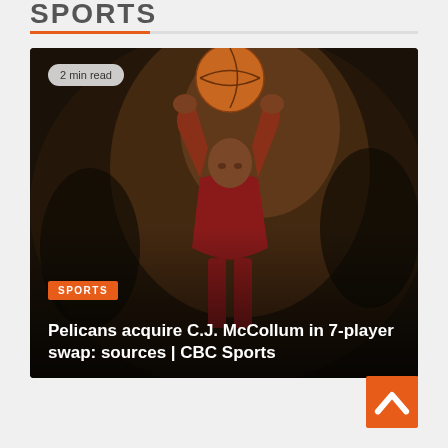SPORTS
[Figure (photo): Basketball player in red jersey shooting a basketball overhead against a dark background. Badge reading '2 min read' in top left, orange 'SPORTS' label above the headline.]
Pelicans acquire C.J. McCollum in 7-player swap: sources | CBC Sports